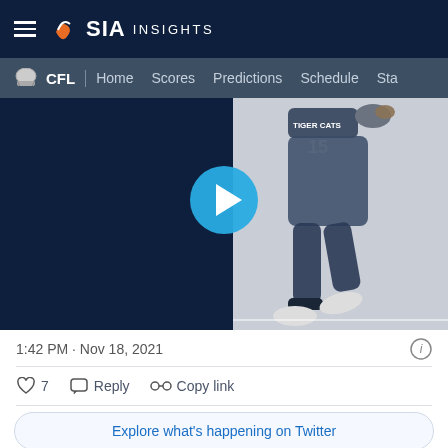SIA INSIGHTS
CFL | Home Scores Predictions Schedule Sta
[Figure (screenshot): Video thumbnail showing a CFL Tiger Cats football player catching a ball, with a blue play button overlay. Left half is dark navy, right half shows grayscale player image.]
1:42 PM · Nov 18, 2021
7  Reply  Copy link
Explore what's happening on Twitter